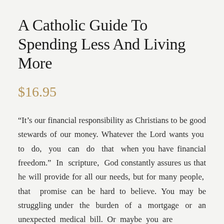A Catholic Guide To Spending Less And Living More
$16.95
“It’s our financial responsibility as Christians to be good stewards of our money. Whatever the Lord wants you to do, you can do that when you have financial freedom.” In scripture, God constantly assures us that he will provide for all our needs, but for many people, that promise can be hard to believe. You may be struggling under the burden of a mortgage or an unexpected medical bill. Or maybe you are